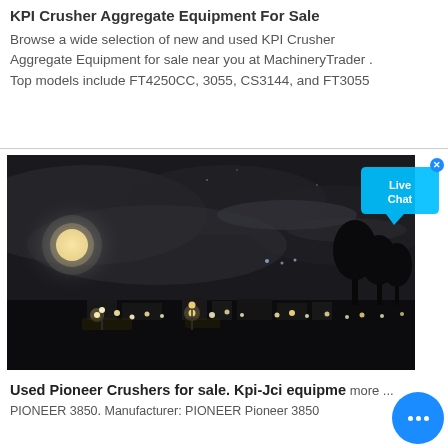KPI Crusher Aggregate Equipment For Sale
Browse a wide selection of new and used KPI Crusher Aggregate Equipment for sale near you at MachineryTrader . Top models include FT4250CC, 3055, CS3144, and FT3055
[Figure (photo): Night photo of an industrial/aggregate equipment site with multiple lights visible against a dark sky with clouds and a bright moon or light source.]
Used Pioneer Crushers for sale. Kpi-Jci equipme more ...
PIONEER 3850. Manufacturer: PIONEER Pioneer 3850